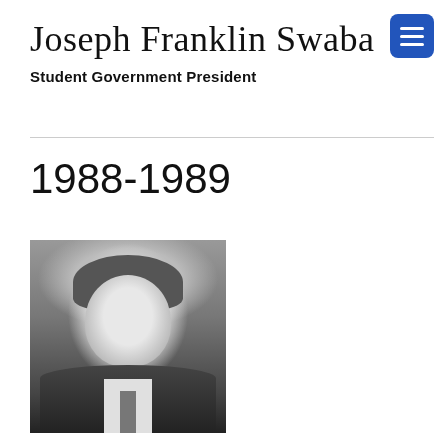Joseph Franklin Swaba
Student Government President
1988-1989
[Figure (photo): Black and white portrait photograph of Joseph Franklin Swaba, a man in a suit with a tie, looking at the camera with a slight smile.]